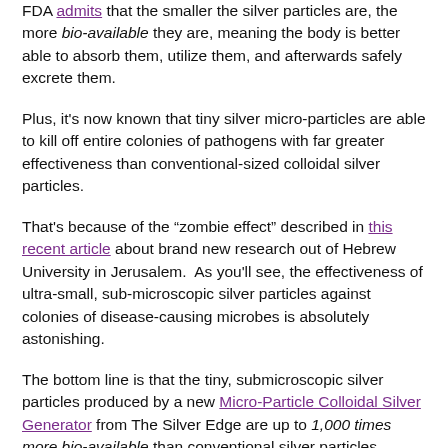FDA admits that the smaller the silver particles are, the more bio-available they are, meaning the body is better able to absorb them, utilize them, and afterwards safely excrete them.
Plus, it's now known that tiny silver micro-particles are able to kill off entire colonies of pathogens with far greater effectiveness than conventional-sized colloidal silver particles.
That's because of the "zombie effect" described in this recent article about brand new research out of Hebrew University in Jerusalem. As you'll see, the effectiveness of ultra-small, sub-microscopic silver particles against colonies of disease-causing microbes is absolutely astonishing.
The bottom line is that the tiny, submicroscopic silver particles produced by a new Micro-Particle Colloidal Silver Generator from The Silver Edge are up to 1,000 times more bio-available than conventional silver particles.
Indeed, the human body is able to absorb 90-100% of the